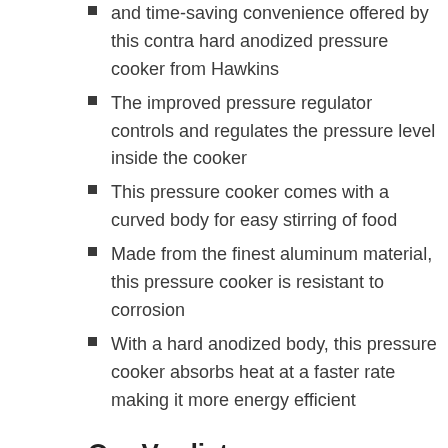and time-saving convenience offered by this contra hard anodized pressure cooker from Hawkins
The improved pressure regulator controls and regulates the pressure level inside the cooker
This pressure cooker comes with a curved body for easy stirring of food
Made from the finest aluminum material, this pressure cooker is resistant to corrosion
With a hard anodized body, this pressure cooker absorbs heat at a faster rate making it more energy efficient
Our Verdict
Last but not the least, if you haven't liked any of the Cast Aluminum Quick Cooker yet, then Hawkins Cb40 Anodised Pressure 4 Liter is your choice. It is another one which is